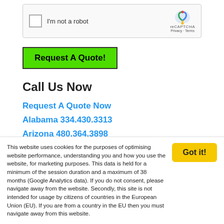[Figure (screenshot): reCAPTCHA widget with checkbox 'I'm not a robot' and reCAPTCHA logo with Privacy and Terms links]
Request A Quote!
Call Us Now
Request A Quote Now
Alabama 334.430.3313
Arizona 480.364.3898
California 877.922.9980 ext 5
Colorado 888-229-2984
Florida 352.870.9633
Toll Free 866.398.2843
This website uses cookies for the purposes of optimising website performance, understanding you and how you use the website, for marketing purposes. This data is held for a minimum of the session duration and a maximum of 38 months (Google Analytics data). If you do not consent, please navigate away from the website. Secondly, this site is not intended for usage by citizens of countries in the European Union (EU). If you are from a country in the EU then you must navigate away from this website.